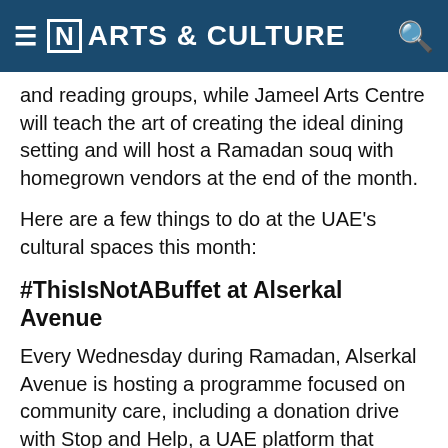[N] ARTS & CULTURE
and reading groups, while Jameel Arts Centre will teach the art of creating the ideal dining setting and will host a Ramadan souq with homegrown vendors at the end of the month.
Here are a few things to do at the UAE's cultural spaces this month:
#ThisIsNotABuffet at Alserkal Avenue
Every Wednesday during Ramadan, Alserkal Avenue is hosting a programme focused on community care, including a donation drive with Stop and Help, a UAE platform that connects those in need with individuals who can extend a helping hand.